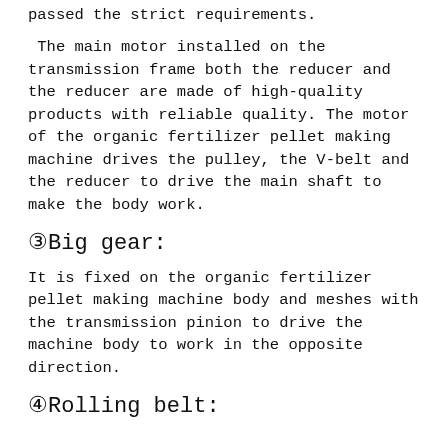passed the strict requirements.
The main motor installed on the transmission frame both the reducer and the reducer are made of high-quality products with reliable quality. The motor of the organic fertilizer pellet making machine drives the pulley, the V-belt and the reducer to drive the main shaft to make the body work.
③Big gear:
It is fixed on the organic fertilizer pellet making machine body and meshes with the transmission pinion to drive the machine body to work in the opposite direction.
④Rolling belt: